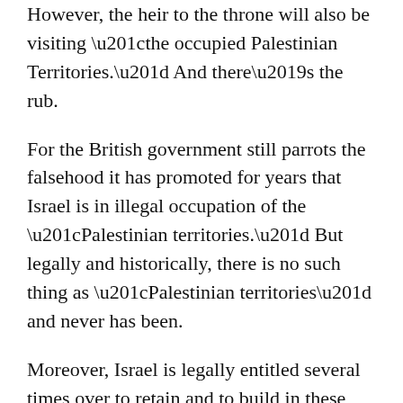However, the heir to the throne will also be visiting “the occupied Palestinian Territories.” And there’s the rub.
For the British government still parrots the falsehood it has promoted for years that Israel is in illegal occupation of the “Palestinian territories.” But legally and historically, there is no such thing as “Palestinian territories” and never has been.
Moreover, Israel is legally entitled several times over to retain and to build in these territories; indeed, the Jews are the only people to whom in the 1920s the international community gave the right to settle in them.
If Johnson’s words mean anything more than a warm hug for the Jewish people, he would end the gross distortion of international law promoted by the U.K. foreign office and instead assert the truth — that there is no basis whatever for claiming that Israel is behaving illegally in retaining and settling the